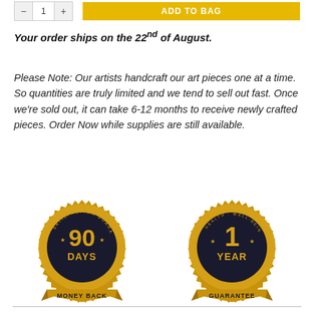[Figure (screenshot): Top bar with quantity selector (minus button, '1', plus button) and yellow 'ADD TO BAG' button]
Your order ships on the 22nd of August.
Please Note: Our artists handcraft our art pieces one at a time. So quantities are truly limited and we tend to sell out fast. Once we're sold out, it can take 6-12 months to receive newly crafted pieces. Order Now while supplies are still available.
[Figure (illustration): Two gold seal badges: left badge shows '90 DAYS MONEY BACK' satisfaction guarantee; right badge shows '1 YEAR GUARANTEE']